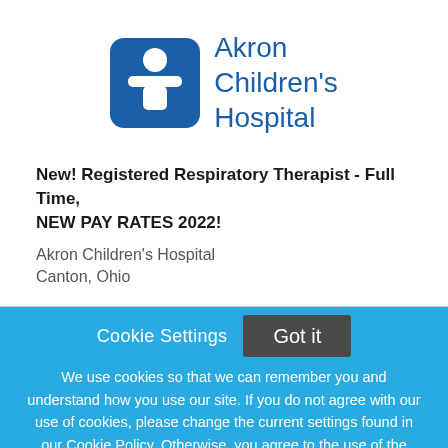[Figure (logo): Akron Children's Hospital logo — dark blue rounded square icon with a stylized child figure, next to blue text reading 'Akron Children's Hospital']
New! Registered Respiratory Therapist - Full Time, NEW PAY RATES 2022!
Akron Children's Hospital
Canton, Ohio
Cookie Settings  Got it
We use cookies so that we can remember you and understand how you use our site. If you do not agree with our use of cookies, please change the current settings found in our Cookie Policy. Otherwise, you agree to the use of the cookies as they are currently set.